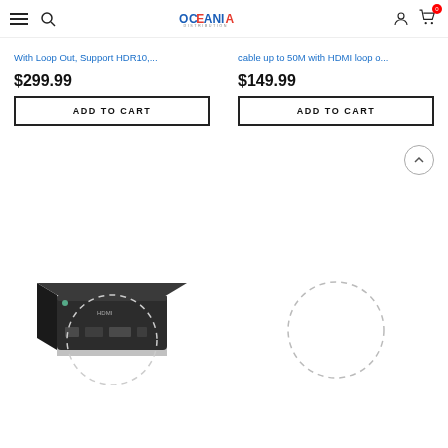Oceania Distribution — navigation header with menu, search, logo, user icon, cart (0)
With Loop Out, Support HDR10,...
cable up to 50M with HDMI loop o...
$299.99
$149.99
ADD TO CART
ADD TO CART
[Figure (photo): Small black HDMI device/extender box shown from front angle with ports visible]
[Figure (photo): Product image loading placeholder (dashed circle spinner)]